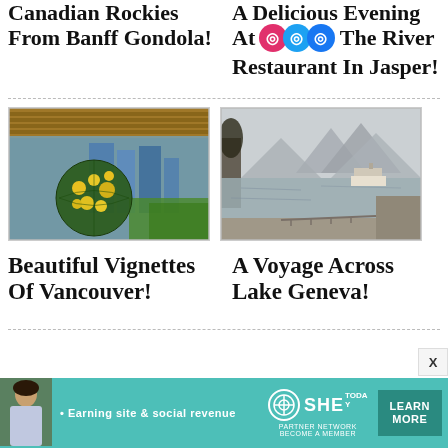Canadian Rockies From Banff Gondola!
A Delicious Evening At The River Restaurant In Jasper!
[Figure (photo): Interior of a modern building with a large globe sculpture covered in yellow flowers, floor-to-ceiling glass windows showing city buildings outside]
[Figure (photo): Lake or waterway scene with mountains in background under overcast sky, with a boat/ferry and rocky shoreline path]
Beautiful Vignettes Of Vancouver!
A Voyage Across Lake Geneva!
• Earning site & social revenue   SHE PARTNER NETWORK   BECOME A MEMBER   LEARN MORE